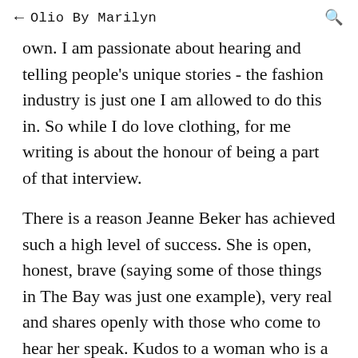← Olio By Marilyn 🔍
own.  I am passionate about hearing and telling people's unique stories - the fashion industry is just one I am allowed to do this in.  So while I do love clothing, for me writing is about the honour of being a part of that interview.

There is a reason Jeanne Beker has achieved such a high level of success.  She is open, honest, brave (saying some of those things in The Bay was just one example), very real and shares openly with those who come to hear her speak.  Kudos to a woman who is a Canadian icon - well deservedly!
I...